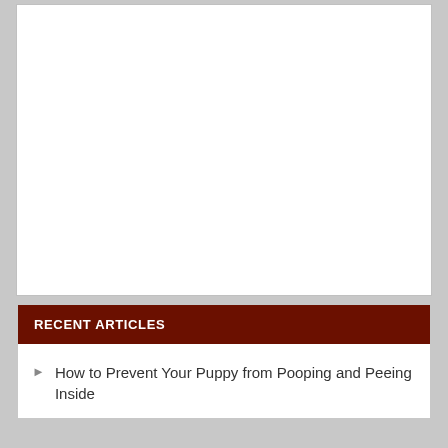[Figure (other): White blank image placeholder area with light gray border]
RECENT ARTICLES
How to Prevent Your Puppy from Pooping and Peeing Inside